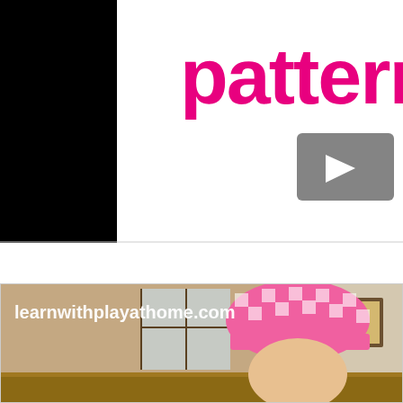[Figure (screenshot): Top portion of a webpage showing a partially cropped logo/title with the text 'patterni' in large pink rounded font, with a gray video play button overlay in the center-right area. Left side has a large black vertical bar (sidebar element). Background is white.]
[Figure (photo): Photo of a child wearing a pink and white checkered chef's hat, baking or cooking at a wooden surface. Kitchen with window visible in the background. Website watermark 'learnwithplayathome.com' in white text overlaid on the image.]